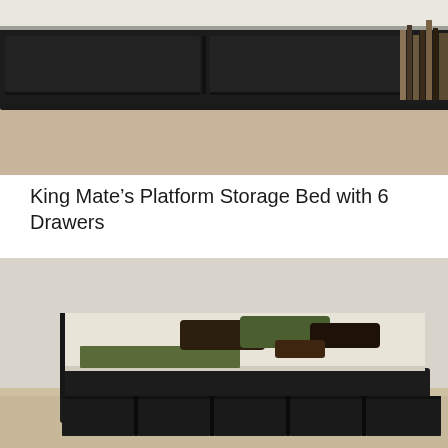[Figure (photo): Close-up photo of a dark espresso/black platform storage bed with drawers, showing the side profile with drawers and a light wood floor. Books visible on right side.]
King Mate’s Platform Storage Bed with 6 Drawers
[Figure (photo): Photo of a dark espresso/black King Mate's platform storage bed with 6 drawers open, viewed from the front corner. The bed has a cream mattress topped with dark green and brown pillows, and a green rug. Light gray walls and light wood floor visible.]